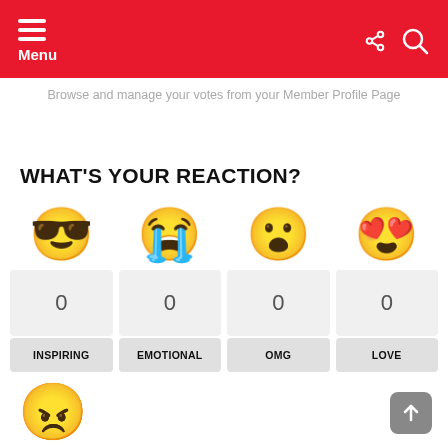Menu
Browse and manage your votes from your Member Profile Page
WHAT'S YOUR REACTION?
[Figure (infographic): Four emoji reaction buttons with vote counts and labels: Inspiring (sunglasses emoji, 0 votes), Emotional (crying emoji, 0 votes), OMG (surprised emoji, 0 votes), Love (heart-eyes emoji, 0 votes)]
[Figure (infographic): Angry face emoji at bottom left, scroll-to-top button at bottom right]